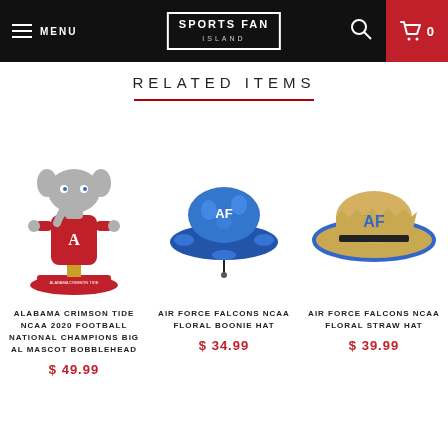MENU | SPORTS FAN ISLAND | 0
RELATED ITEMS
[Figure (photo): Alabama Crimson Tide Big Al mascot bobblehead figurine on red base]
ALABAMA CRIMSON TIDE NCAA 2020 FOOTBALL NATIONAL CHAMPIONS BIG AL MASCOT BOBBLEHEAD
$ 49.99
[Figure (photo): Air Force Falcons NCAA floral boonie hat in blue floral pattern]
AIR FORCE FALCONS NCAA FLORAL BOONIE HAT
$ 34.99
[Figure (photo): Air Force Falcons NCAA floral straw hat with AF logo]
AIR FORCE FALCONS NCAA FLORAL STRAW HAT
$ 39.99